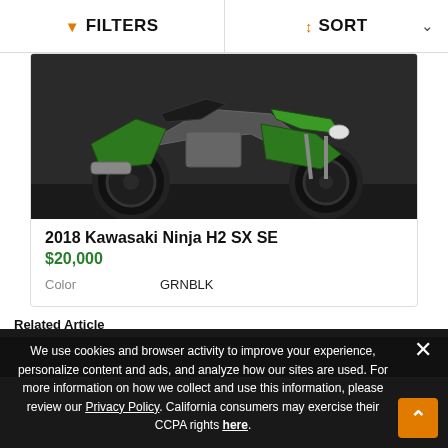FILTERS   SORT
[Figure (photo): Green 2018 Kawasaki Ninja H2 SX SE motorcycle photographed indoors from front-left angle, showing green fairings, black frame, and exhaust]
2018 Kawasaki Ninja H2 SX SE
$20,000
Color   GRNBLK
Related Article
We use cookies and browser activity to improve your experience, personalize content and ads, and analyze how our sites are used. For more information on how we collect and use this information, please review our Privacy Policy. California consumers may exercise their CCPA rights here.